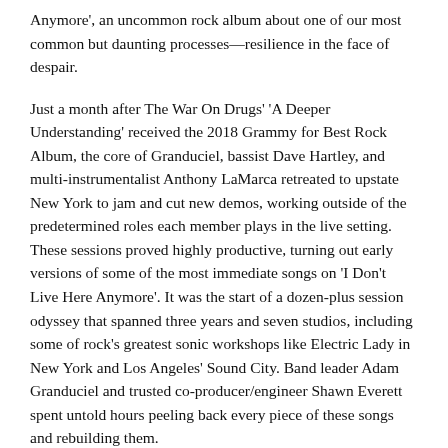Anymore', an uncommon rock album about one of our most common but daunting processes—resilience in the face of despair.
Just a month after The War On Drugs' 'A Deeper Understanding' received the 2018 Grammy for Best Rock Album, the core of Granduciel, bassist Dave Hartley, and multi-instrumentalist Anthony LaMarca retreated to upstate New York to jam and cut new demos, working outside of the predetermined roles each member plays in the live setting. These sessions proved highly productive, turning out early versions of some of the most immediate songs on 'I Don't Live Here Anymore'. It was the start of a dozen-plus session odyssey that spanned three years and seven studios, including some of rock's greatest sonic workshops like Electric Lady in New York and Los Angeles' Sound City. Band leader Adam Granduciel and trusted co-producer/engineer Shawn Everett spent untold hours peeling back every piece of these songs and rebuilding them.
One of the most memorable sessions occurred in May 2019 at Electro-Vox, in which the band's entire line-up — rounded out